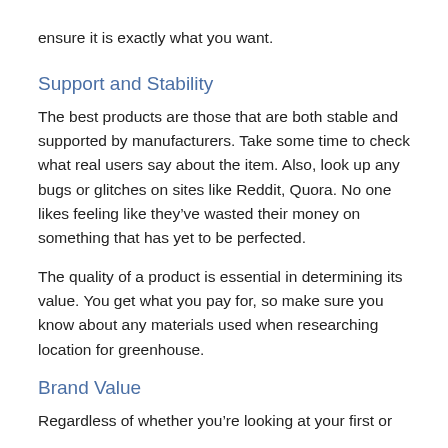ensure it is exactly what you want.
Support and Stability
The best products are those that are both stable and supported by manufacturers. Take some time to check what real users say about the item. Also, look up any bugs or glitches on sites like Reddit, Quora. No one likes feeling like they've wasted their money on something that has yet to be perfected.
The quality of a product is essential in determining its value. You get what you pay for, so make sure you know about any materials used when researching location for greenhouse.
Brand Value
Regardless of whether you're looking at your first or